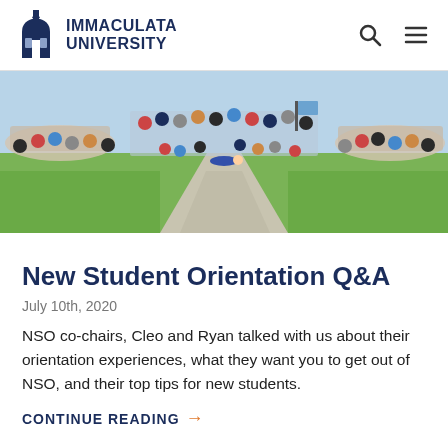IMMACULATA UNIVERSITY
[Figure (photo): Large group of students gathered outdoors on a campus lawn, sitting and standing near a concrete pathway, during New Student Orientation.]
New Student Orientation Q&A
July 10th, 2020
NSO co-chairs, Cleo and Ryan talked with us about their orientation experiences, what they want you to get out of NSO, and their top tips for new students.
CONTINUE READING →